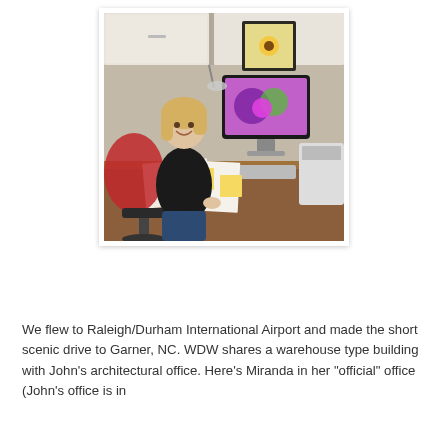[Figure (photo): A woman with blonde hair sits at a wooden office desk, smiling at the camera. She is wearing a black top and dark jeans. On the desk there is an iMac computer with a colorful screen, a keyboard, papers, sticky notes, and a printer. Above the desk are white cabinets and a framed picture of sunflowers on the wall. A red jacket is draped over the office chair.]
We flew to Raleigh/Durham International Airport and made the short scenic drive to Garner, NC. WDW shares a warehouse type building with John's architectural office. Here's Miranda in her "official" office (John's office is in